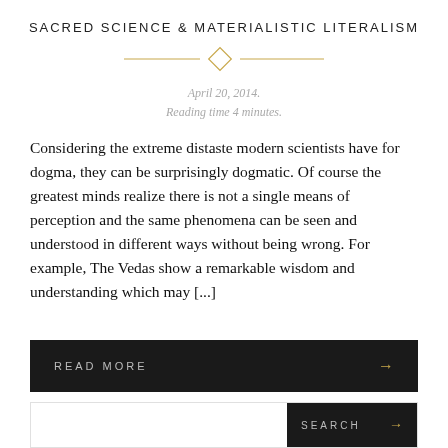SACRED SCIENCE & MATERIALISTIC LITERALISM
April 20, 2014.
Reading time 4 minutes.
Considering the extreme distaste modern scientists have for dogma, they can be surprisingly dogmatic. Of course the greatest minds realize there is not a single means of perception and the same phenomena can be seen and understood in different ways without being wrong. For example, The Vedas show a remarkable wisdom and understanding which may [...]
READ MORE →
SEARCH →